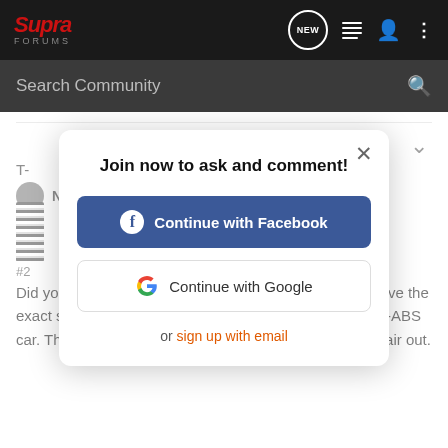[Figure (screenshot): Supra Forums top navigation bar with logo, NEW button, list icon, user icon, and dots menu]
Search Community
[Figure (screenshot): Modal dialog: Join now to ask and comment! with Continue with Facebook and Continue with Google buttons, and or sign up with email link]
Did you ever solve your brake bleeding problem??? I have the exact same problem since I installed ABS stuff on a non-ABS car. The fronts seem alright, but the rears keep burping air out.